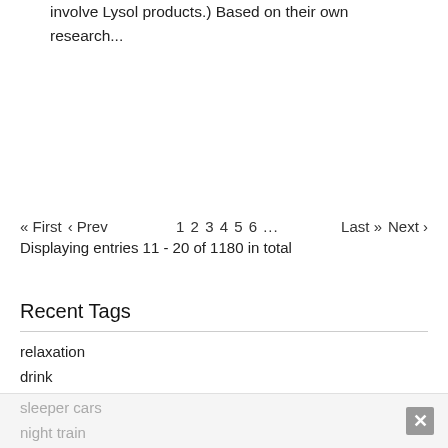involve Lysol products.) Based on their own research...
« First  ‹ Prev    1 2 3 4 5 6 ...    Last »  Next ›
Displaying entries 11 - 20 of 1180 in total
Recent Tags
relaxation
drink
craft beer
youth
reading
rip-offs
2022
overnight train
sleeper cars
night train